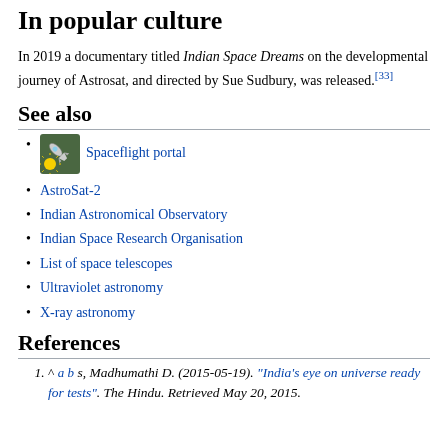In popular culture
In 2019 a documentary titled Indian Space Dreams on the developmental journey of Astrosat, and directed by Sue Sudbury, was released.[33]
See also
Spaceflight portal
AstroSat-2
Indian Astronomical Observatory
Indian Space Research Organisation
List of space telescopes
Ultraviolet astronomy
X-ray astronomy
References
^ a b s, Madhumathi D. (2015-05-19). "India's eye on universe ready for tests". The Hindu. Retrieved May 20, 2015.